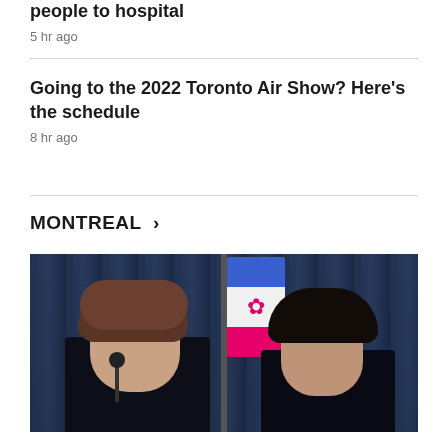... woman killed in Brampton crash that sent 16 people to hospital
5 hr ago
Going to the 2022 Toronto Air Show? Here's the schedule
8 hr ago
MONTREAL >
[Figure (photo): Two women in dark clothing seated at a press conference with a Montreal city flag (pink/white/blue fleur-de-lis) on a pole between them, against a dark blue curtain backdrop.]